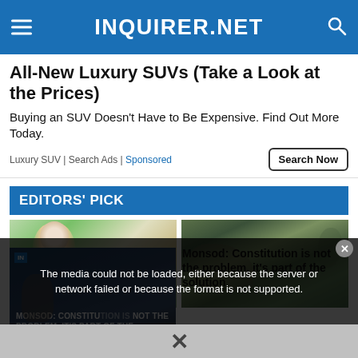INQUIRER.NET
All-New Luxury SUVs (Take a Look at the Prices)
Buying an SUV Doesn’t Have to Be Expensive. Find Out More Today.
Luxury SUV | Search Ads | Sponsored
EDITORS’ PICK
[Figure (photo): Left: elderly man outdoors among green foliage. Right: aerial or hillside view of green forested terrain.]
[Figure (screenshot): Video player overlay with error message: The media could not be loaded, either because the server or network failed or because the format is not supported. Thumbnail shows text MONSOD: CONSTITUTION IS NOT THE PROBLEM, IT’S PART OF THE SOLUTION]
Monsod: Constitution is not the problem, it’s part of the solution